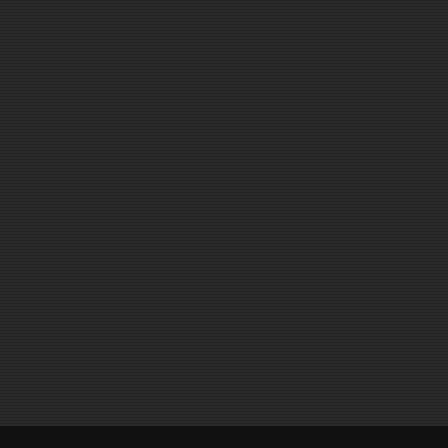[Figure (screenshot): Dark-themed game settings UI panel showing two columns: a dark left panel (mostly empty/cut off) and a right panel with settings options. The right panel shows section headers 'Bonuses, Limits and Dice' and 'Initial Setup' with truncated setting labels including Grant 1 u..., Mini..., Capturing c..., Ma..., Number o..., Number of..., Num..., Use team..., Allow players...]
Bonuses, Limits and Dice
Grant 1 u
Mini
Capturing c
Ma
Number o
Number of
Initial Setup
Num
Use team
Allow players